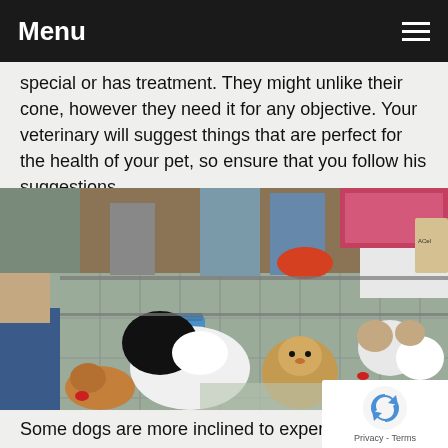Menu
special or has treatment. They might unlike their cone, however they need it for any objective. Your veterinary will suggest things that are perfect for the health of your pet, so ensure that you follow his suggestions.
[Figure (photo): Multiple puppies of various breeds in wire cages on a street market stall, with pet supplies visible in the background.]
Some dogs are more inclined to experience health con...